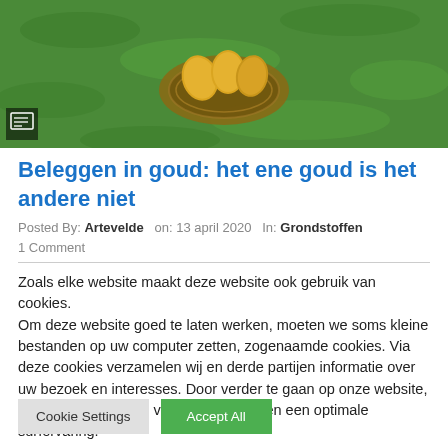[Figure (photo): Photo of golden eggs in a nest on green grass, with a small icon box in the bottom-left corner]
Beleggen in goud: het ene goud is het andere niet
Posted By: Artevelde  on: 13 april 2020  In: Grondstoffen
1 Comment
Zoals elke website maakt deze website ook gebruik van cookies.
Om deze website goed te laten werken, moeten we soms kleine bestanden op uw computer zetten, zogenaamde cookies. Via deze cookies verzamelen wij en derde partijen informatie over uw bezoek en interesses. Door verder te gaan op onze website, geeft u toestemming voor alle cookies en een optimale surfervaring.
Cookie Settings  Accept All